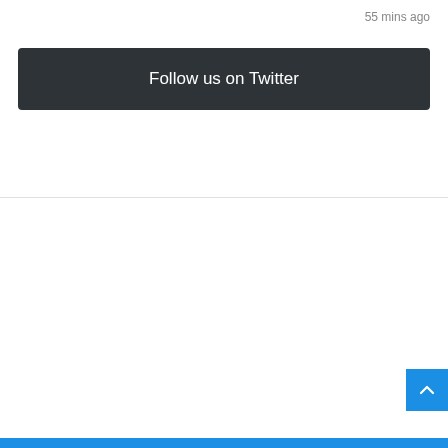55 mins ago
[Figure (other): Dark button labeled 'Follow us on Twitter']
[Figure (other): Blue back-to-top button with upward chevron arrow in bottom right corner]